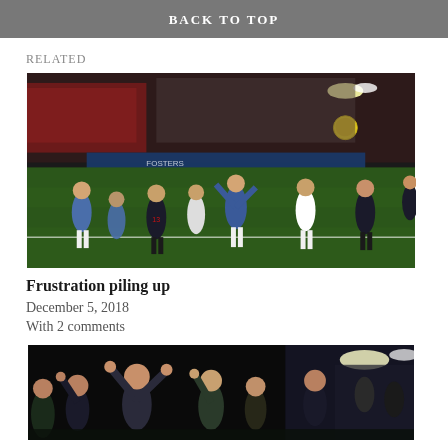BACK TO TOP
RELATED
[Figure (photo): Football match action shot: players from Bournemouth (black/red) and Huddersfield (blue/white stripes) competing on pitch at night, with crowd in background and yellow ball in air]
Frustration piling up
December 5, 2018
With 2 comments
[Figure (photo): Night time celebration photo: fans/players with fists raised in the air, stadium lights in background]